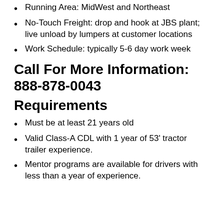Running Area: MidWest and Northeast
No-Touch Freight: drop and hook at JBS plant; live unload by lumpers at customer locations
Work Schedule: typically 5-6 day work week
Call For More Information:
888-878-0043
Requirements
Must be at least 21 years old
Valid Class-A CDL with 1 year of 53' tractor trailer experience.
Mentor programs are available for drivers with less than a year of experience.